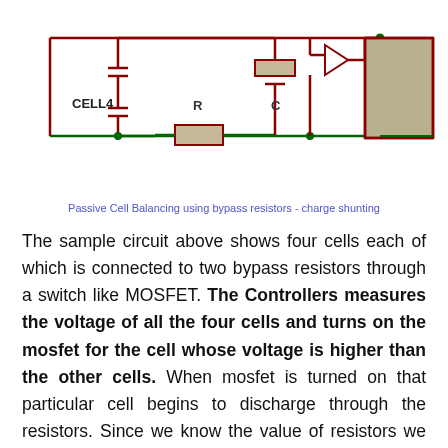[Figure (circuit-diagram): Passive cell balancing circuit showing CELL4 connected to bypass resistors R and C, with a MOSFET switch and a load block. Circuit uses dark red lines on white background with component symbols.]
Passive Cell Balancing using bypass resistors - charge shunting
The sample circuit above shows four cells each of which is connected to two bypass resistors through a switch like MOSFET. The Controllers measures the voltage of all the four cells and turns on the mosfet for the cell whose voltage is higher than the other cells. When mosfet is turned on that particular cell begins to discharge through the resistors. Since we know the value of resistors we can predict how much charge is being dissipated by the cell. The capacitor connected in parallel with the cell is used to filter voltage spikes